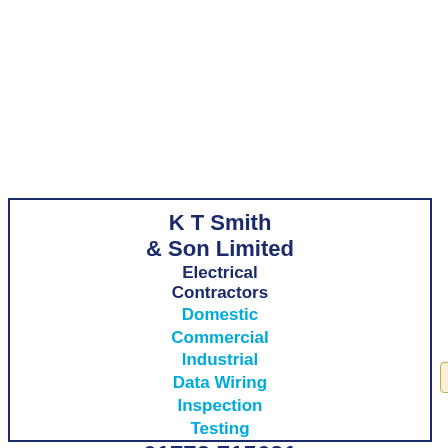K T Smith & Son Limited
Electrical Contractors
Domestic
Commercial
Industrial
Data Wiring
Inspection
Testing
01773 715631
Upload Files
Update Listing